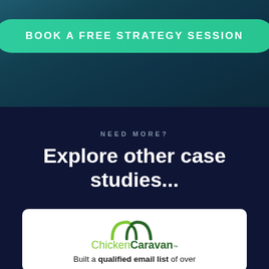[Figure (infographic): Green rounded button with white bold text reading BOOK A FREE STRATEGY SESSION on a dark teal/navy gradient background]
NEED MORE?
Explore other case studies...
[Figure (logo): Chicken Caravan logo with green arched icon above the text]
Built a qualified email list of over